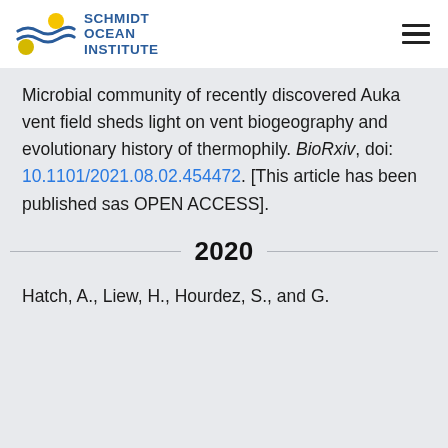SCHMIDT OCEAN INSTITUTE
Microbial community of recently discovered Auka vent field sheds light on vent biogeography and evolutionary history of thermophily. BioRxiv, doi: 10.1101/2021.08.02.454472. [This article has been published sas OPEN ACCESS].
2020
Hatch, A., Liew, H., Hourdez, S., and G.